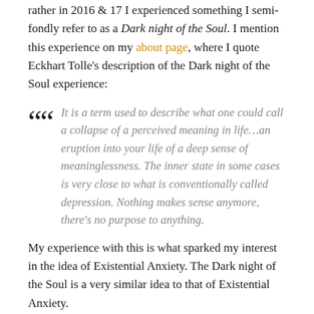rather in 2016 & 17 I experienced something I semi-fondly refer to as a Dark night of the Soul. I mention this experience on my about page, where I quote Eckhart Tolle's description of the Dark night of the Soul experience:
It is a term used to describe what one could call a collapse of a perceived meaning in life…an eruption into your life of a deep sense of meaninglessness. The inner state in some cases is very close to what is conventionally called depression. Nothing makes sense anymore, there's no purpose to anything.
My experience with this is what sparked my interest in the idea of Existential Anxiety. The Dark night of the Soul is a very similar idea to that of Existential Anxiety.
A philosopher named Sren Kierkegaard in the